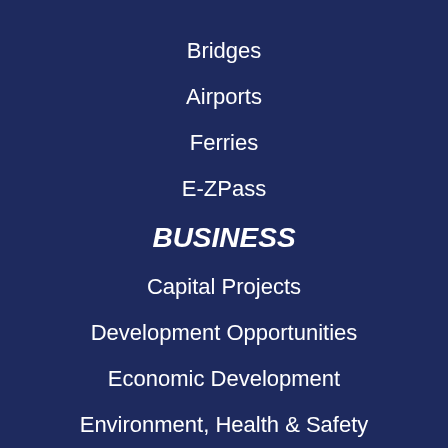Bridges
Airports
Ferries
E-ZPass
BUSINESS
Capital Projects
Development Opportunities
Economic Development
Environment, Health & Safety
Financial Information